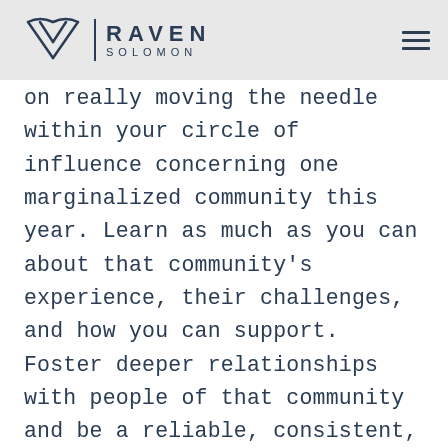RAVEN SOLOMON
on really moving the needle within your circle of influence concerning one marginalized community this year. Learn as much as you can about that community's experience, their challenges, and how you can support. Foster deeper relationships with people of that community and be a reliable, consistent, and intentional ally. Create opportunity, amplify their voices, and speak up with them.
D...